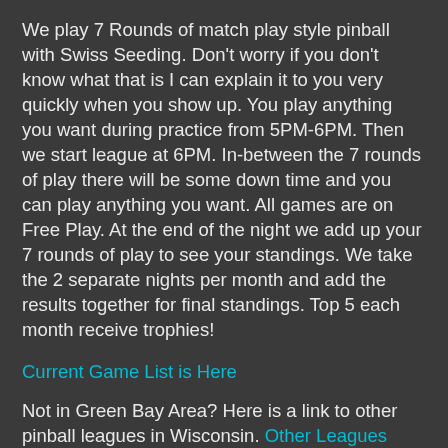We play 7 Rounds of match play style pinball with Swiss Seeding. Don't worry if you don't know what that is I can explain it to you very quickly when you show up. You play anything you want during practice from 5PM-6PM. Then we start league at 6PM. In-between the 7 rounds of play there will be some down time and you can play anything you want. All games are on Free Play. At the end of the night we add up your 7 rounds of play to see your standings. We take the 2 separate nights per month and add the results together for final standings. Top 5 each month receive trophies!
Current Game List is Here
Not in Green Bay Area? Here is a link to other pinball leagues in Wisconsin. Other Leagues
Private Parties at District 82 Pinball